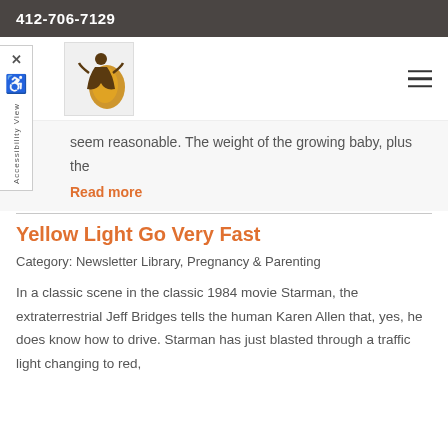412-706-7129
[Figure (logo): Website logo with figure and golden swoosh design]
seem reasonable. The weight of the growing baby, plus the
Read more
Yellow Light Go Very Fast
Category: Newsletter Library, Pregnancy & Parenting
In a classic scene in the classic 1984 movie Starman, the extraterrestrial Jeff Bridges tells the human Karen Allen that, yes, he does know how to drive. Starman has just blasted through a traffic light changing to red,